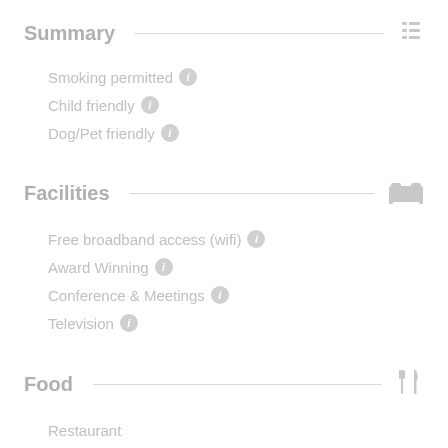Summary
Smoking permitted
Child friendly
Dog/Pet friendly
Facilities
Free broadband access (wifi)
Award Winning
Conference & Meetings
Television
Food
Restaurant